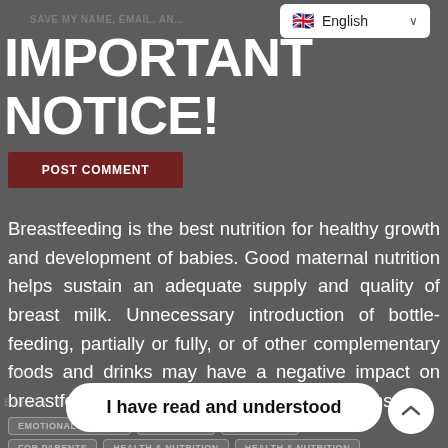SAVE MY NAME, EMAIL, AN...
[Figure (screenshot): English language dropdown selector with UK flag]
IMPORTANT NOTICE!
[Figure (screenshot): POST COMMENT button in dark red]
Breastfeeding is the best nutrition for healthy growth and development of babies. Good maternal nutrition helps sustain an adequate supply and quality of breast milk. Unnecessary introduction of bottle-feeding, partially or fully, or of other complementary foods and drinks may have a negative impact on breastfeeding, which may be irreversible. Consult
[Figure (screenshot): I have read and understood button — white pill-shaped button]
EMOTIONAL BENEFIT   FAMILY FUN   FAMILY FUN
FOR PARENTS   HEALTH & NUTRITION   HEALTH & NUTRITION
HEALTH & NUTRITION   PREGNANT   PREGNANT
PREGNANT   PREGNANT   PREGNANT   PREGNANT
TODDLERS   TODDLERS   TODDLERS   TODDLERS